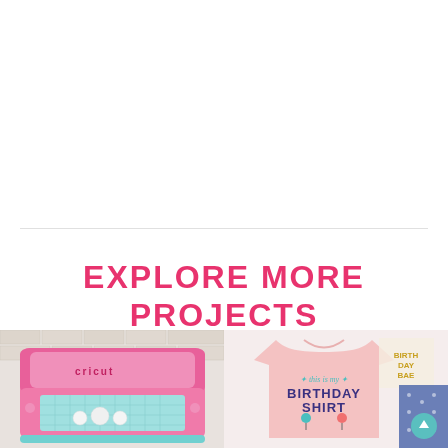EXPLORE MORE PROJECTS
[Figure (photo): Pink Cricut cutting machine open with small figurines/materials on the cutting mat, on a light background]
[Figure (photo): Light pink t-shirt with text 'this is my BIRTHDAY SHIRT' with balloon graphics and decorative elements, with a gold star prop and teal circle button visible]